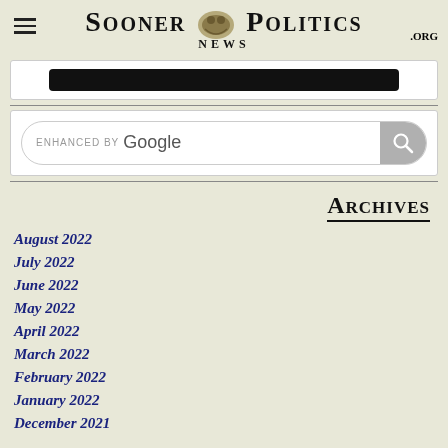Sooner Politics News .org
[Figure (screenshot): Black button/bar inside a white rounded box]
[Figure (screenshot): Enhanced by Google search bar with search icon button]
Archives
August 2022
July 2022
June 2022
May 2022
April 2022
March 2022
February 2022
January 2022
December 2021